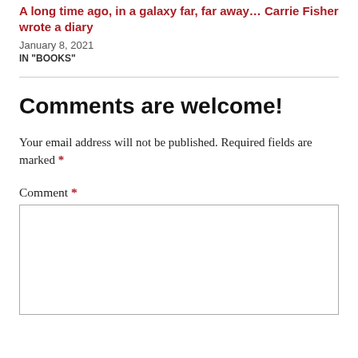A long time ago, in a galaxy far, far away… Carrie Fisher wrote a diary
January 8, 2021
IN "BOOKS"
Comments are welcome!
Your email address will not be published. Required fields are marked *
Comment *